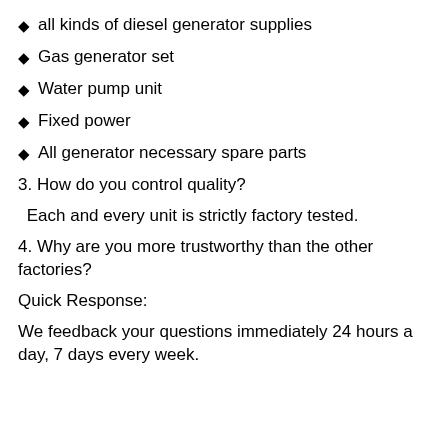all kinds of diesel generator supplies
Gas generator set
Water pump unit
Fixed power
All generator necessary spare parts
3. How do you control quality?
Each and every unit is strictly factory tested.
4. Why are you more trustworthy than the other factories?
Quick Response:
We feedback your questions immediately 24 hours a day, 7 days every week.